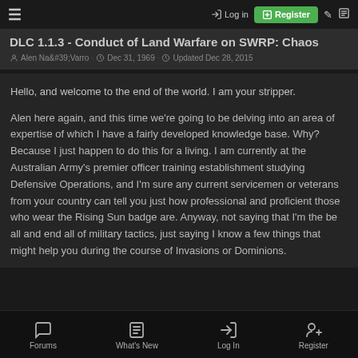≡  → Log in  [+] Register  ✎  ☰
DLC 1.1.3 - Conduct of Land Warfare on SWRP: Chaos
Alen Na&#39;Varro · Dec 31, 1969 · Updated Dec 28, 2015
Hello, and welcome to the end of the world. I am your stripper.
Alen here again, and this time we're going to be delving into an area of expertise of which I have a fairly developed knowledge base. Why? Because I just happen to do this for a living. I am currently at the Australian Army's premier officer training establishment studying Defensive Operations, and I'm sure any current servicemen or veterans from your country can tell you just how professional and proficient those who wear the Rising Sun badge are. Anyway, not saying that I'm the be all and end all of military tactics, just saying I know a few things that might help you during the course of Invasions or Dominions.
Forums  What's New  Log In  Register